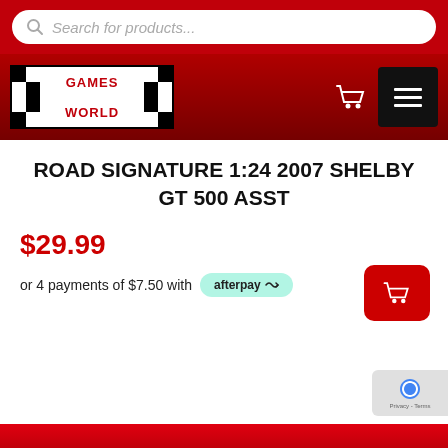[Figure (screenshot): Search bar with magnifying glass icon and placeholder text 'Search for products...' on red background]
[Figure (logo): Games World logo with checkerboard pattern and red text on white background, with shopping cart and hamburger menu icons on dark red navigation bar]
ROAD SIGNATURE 1:24 2007 SHELBY GT 500 ASST
$29.99
or 4 payments of $7.50 with afterpay